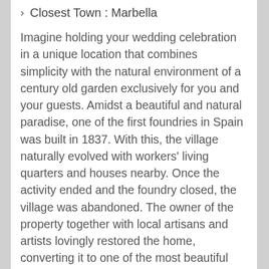Closest Town : Marbella
Imagine holding your wedding celebration in a unique location that combines simplicity with the natural environment of a century old garden exclusively for you and your guests. Amidst a beautiful and natural paradise, one of the first foundries in Spain was built in 1837. With this, the village naturally evolved with workers' living quarters and houses nearby. Once the activity ended and the foundry closed, the village was abandoned. The owner of the property together with local artisans and artists lovingly restored the home, converting it to one of the most beautiful country estates in the Costa del Sol.
The property offers magnificent views with spectacular centenary palm trees. We invite you to savor the unique surroundings with its magical atmosphere with the sound of trickling water, the